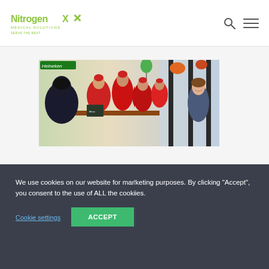NitrogenX Medical Solutions
[Figure (photo): Group of people wearing red aprons and red head coverings seated at tables inside a restaurant/cafe with Heineken signage visible in the background. Decorative green and orange lanterns hang from the ceiling. A young woman without a hat stands at right.]
We use cookies on our website for marketing purposes. By clicking “Accept”, you consent to the use of ALL the cookies.
Cookie settings
ACCEPT